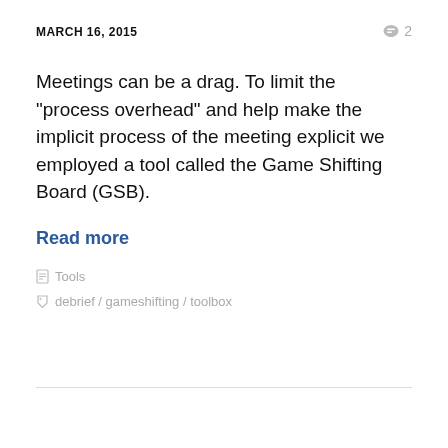MARCH 16, 2015
Meetings can be a drag. To limit the "process overhead" and help make the implicit process of the meeting explicit we employed a tool called the Game Shifting Board (GSB).
Read more
Tools
debrief / gameshifting / toolbox